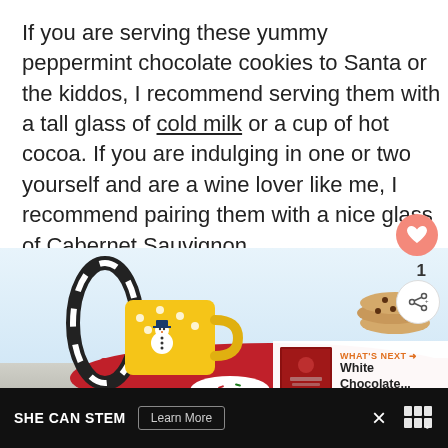If you are serving these yummy peppermint chocolate cookies to Santa or the kiddos, I recommend serving them with a tall glass of cold milk or a cup of hot cocoa. If you are indulging in one or two yourself and are a wine lover like me, I recommend pairing them with a nice glass of Cabernet Sauvignon.
[Figure (photo): Photo of holiday cookies scene with a yellow snowman mug, candy cane, red knit fabric, and stacked cookies in the background. Overlays include a heart button, share count '1', share icon button, and a 'What's Next' widget showing 'White Chocolate...' with a thumbnail.]
SHE CAN STEM   Learn More   ×